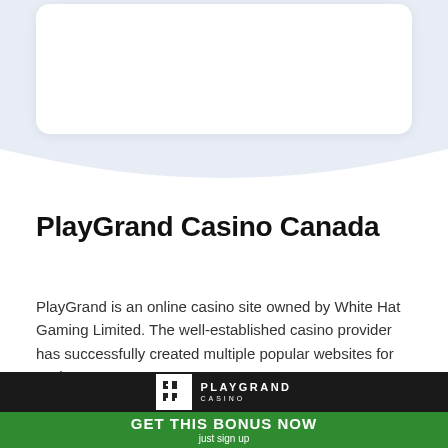[Figure (screenshot): White rounded card element on light blue background]
PlayGrand Casino Canada
PlayGrand is an online casino site owned by White Hat Gaming Limited. The well-established casino provider has successfully created multiple popular websites for casino
[Figure (logo): PlayGrand Casino logo on black background banner]
GET THIS BONUS NOW
just sign up